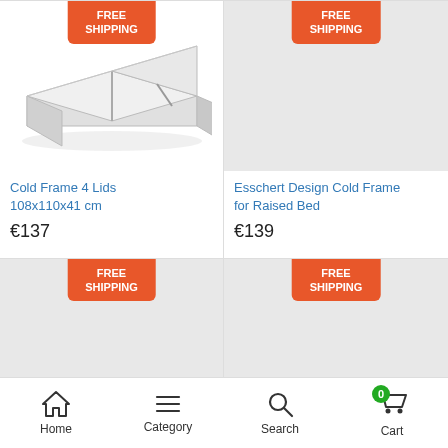[Figure (photo): Cold frame product with 4 lids, silver/white metallic rectangular frame, angled open lid]
FREE SHIPPING
Cold Frame 4 Lids 108x110x41 cm
€137
[Figure (photo): Grey placeholder image for Esschert Design Cold Frame for Raised Bed product]
FREE SHIPPING
Esschert Design Cold Frame for Raised Bed
€139
[Figure (photo): Grey placeholder image for third product with FREE SHIPPING badge]
FREE SHIPPING
[Figure (photo): Grey placeholder image for fourth product with FREE SHIPPING badge]
FREE SHIPPING
Home  Category  Search  Cart